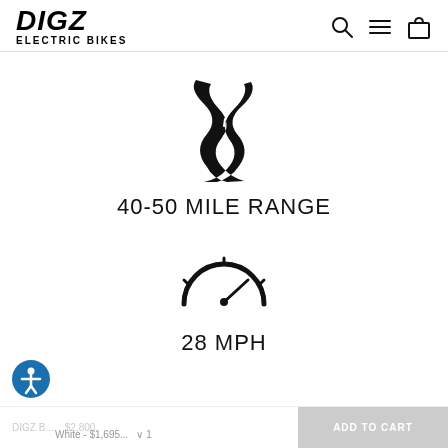DIGZ ELECTRIC BIKES
[Figure (illustration): Black silhouette icon of a winding road with dashed center line markings]
40-50 MILE RANGE
[Figure (illustration): Black speedometer icon showing a needle pointing to the right, semicircular gauge]
28 MPH